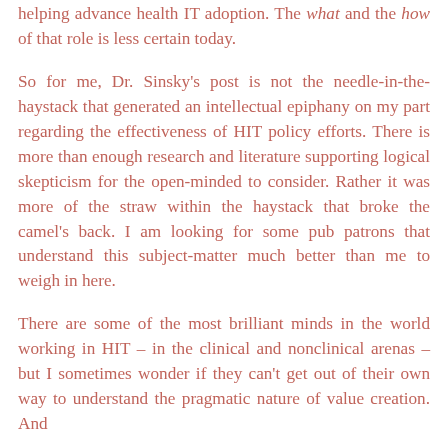helping advance health IT adoption. The what and the how of that role is less certain today.
So for me, Dr. Sinsky's post is not the needle-in-the-haystack that generated an intellectual epiphany on my part regarding the effectiveness of HIT policy efforts. There is more than enough research and literature supporting logical skepticism for the open-minded to consider. Rather it was more of the straw within the haystack that broke the camel's back. I am looking for some pub patrons that understand this subject-matter much better than me to weigh in here.
There are some of the most brilliant minds in the world working in HIT – in the clinical and nonclinical arenas – but I sometimes wonder if they can't get out of their own way to understand the pragmatic nature of value creation. And